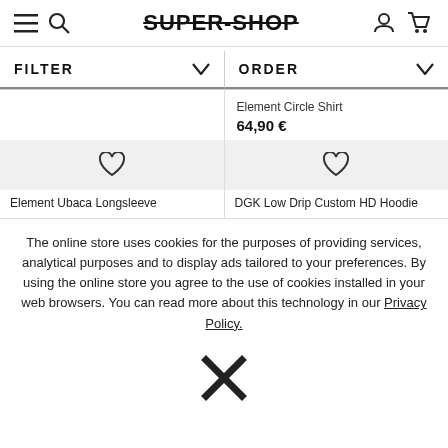SUPER-SHOP
FILTER
ORDER
Element Circle Shirt
64,90 €
Element Ubaca Longsleeve
DGK Low Drip Custom HD Hoodie
The online store uses cookies for the purposes of providing services, analytical purposes and to display ads tailored to your preferences. By using the online store you agree to the use of cookies installed in your web browsers. You can read more about this technology in our Privacy Policy.